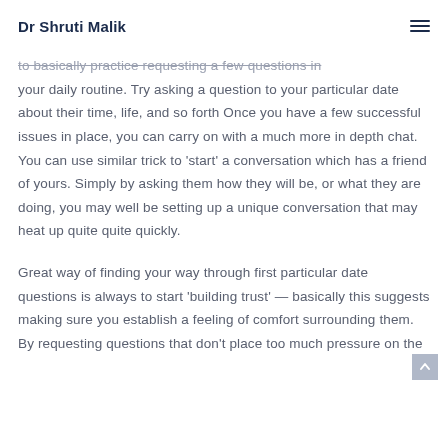Dr Shruti Malik
to basically practice requesting a few questions in your daily routine. Try asking a question to your particular date about their time, life, and so forth Once you have a few successful issues in place, you can carry on with a much more in depth chat. You can use similar trick to ‘start’ a conversation which has a friend of yours. Simply by asking them how they will be, or what they are doing, you may well be setting up a unique conversation that may heat up quite quite quickly.
Great way of finding your way through first particular date questions is always to start ‘building trust’ — basically this suggests making sure you establish a feeling of comfort surrounding them. By requesting questions that don’t place too much pressure on the